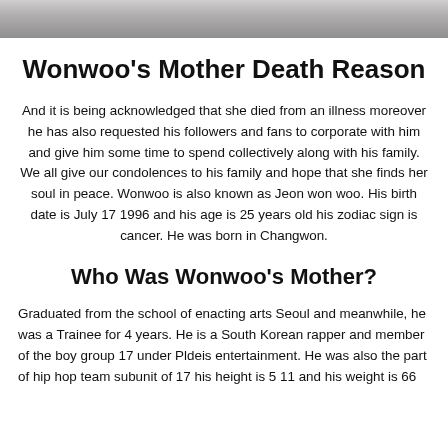[Figure (photo): Partial photo of a person (Wonwoo) at the top of the page, cropped, showing lower face and shoulders in light clothing]
Wonwoo's Mother Death Reason
And it is being acknowledged that she died from an illness moreover he has also requested his followers and fans to corporate with him and give him some time to spend collectively along with his family. We all give our condolences to his family and hope that she finds her soul in peace. Wonwoo is also known as Jeon won woo. His birth date is July 17 1996 and his age is 25 years old his zodiac sign is cancer. He was born in Changwon.
Who Was Wonwoo's Mother?
Graduated from the school of enacting arts Seoul and meanwhile, he was a Trainee for 4 years. He is a South Korean rapper and member of the boy group 17 under Pldeis entertainment. He was also the part of hip hop team subunit of 17 his height is 5 11 and his weight is 66